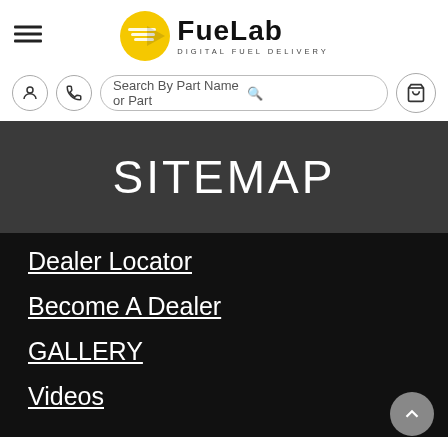[Figure (logo): Fuelab Digital Fuel Delivery logo with yellow circle icon and black bold wordmark]
SITEMAP
Dealer Locator
Become A Dealer
GALLERY
Videos